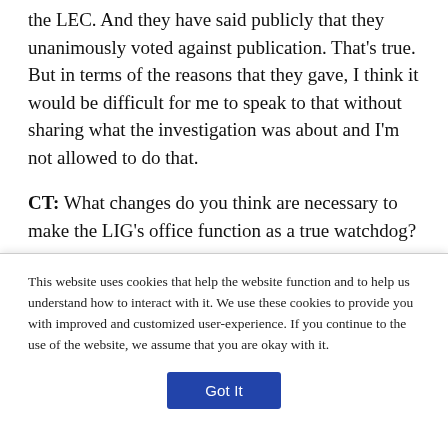the LEC. And they have said publicly that they unanimously voted against publication. That's true. But in terms of the reasons that they gave, I think it would be difficult for me to speak to that without sharing what the investigation was about and I'm not allowed to do that.
CT: What changes do you think are necessary to make the LIG's office function as a true watchdog?
Porter: Number one is easy. There needs to be a change to the statute and rules to enable the IG to open
This website uses cookies that help the website function and to help us understand how to interact with it. We use these cookies to provide you with improved and customized user-experience. If you continue to the use of the website, we assume that you are okay with it.